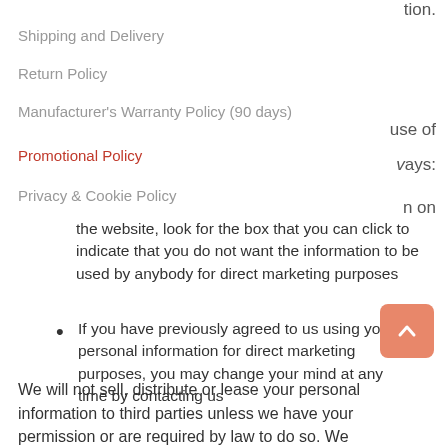tion.
Shipping and Delivery
Return Policy
Manufacturer's Warranty Policy (90 days)
use of
Promotional Policy
vays:
Privacy & Cookie Policy
n on
the website, look for the box that you can click to indicate that you do not want the information to be used by anybody for direct marketing purposes
If you have previously agreed to us using your personal information for direct marketing purposes, you may change your mind at any time by contacting us
We will not sell, distribute or lease your personal information to third parties unless we have your permission or are required by law to do so. We